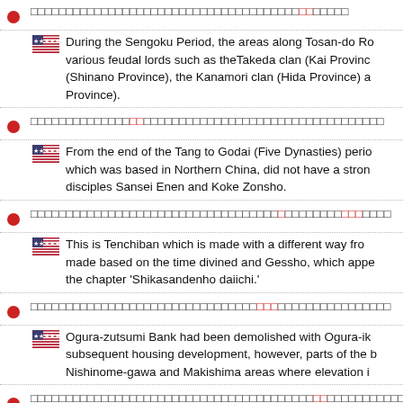[Japanese text with red characters] During the Sengoku Period, the areas along Tosan-do Road were dominated by various feudal lords such as the Takeda clan (Kai Province), (Shinano Province), the Kanamori clan (Hida Province) and Province).
[Japanese text with red characters] From the end of the Tang to Godai (Five Dynasties) period, which was based in Northern China, did not have a strong disciples Sansei Enen and Koke Zonsho.
[Japanese text with red characters] This is Tenchiban which is made with a different way from made based on the time divined and Gessho, which appea the chapter 'Shikasandenho daiichi.'
[Japanese text with red characters] Ogura-zutsumi Bank had been demolished with Ogura-ik subsequent housing development, however, parts of the b Nishinome-gawa and Makishima areas where elevation i
[Japanese text with red characters] On the night, Nakamaro led his family and escaped from